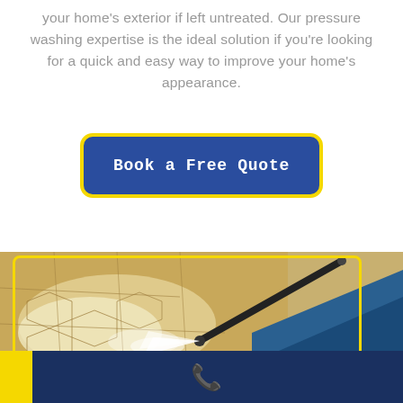your home's exterior if left untreated. Our pressure washing expertise is the ideal solution if you're looking for a quick and easy way to improve your home's appearance.
Book a Free Quote
[Figure (photo): Pressure washer cleaning paved stone surface, with water spray visible, yellow border overlay, and blue section at bottom right]